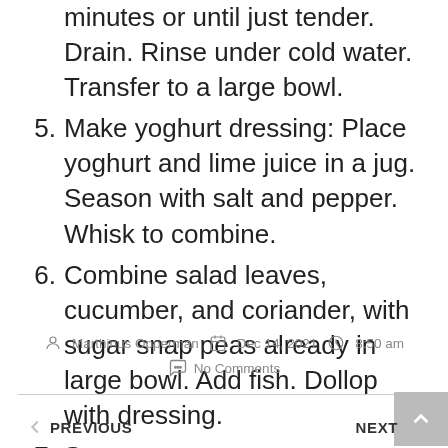(continuation) minutes or until just tender. Drain. Rinse under cold water. Transfer to a large bowl.
5. Make yoghurt dressing: Place yoghurt and lime juice in a jug. Season with salt and pepper. Whisk to combine.
6. Combine salad leaves, cucumber, and coriander, with sugar snap peas already in large bowl. Add fish. Dollop with dressing.
7. Serve.
Marthinus Opperman   Dec 14, 2021   8:50 am   No Comments
PREVIOUS   NEXT